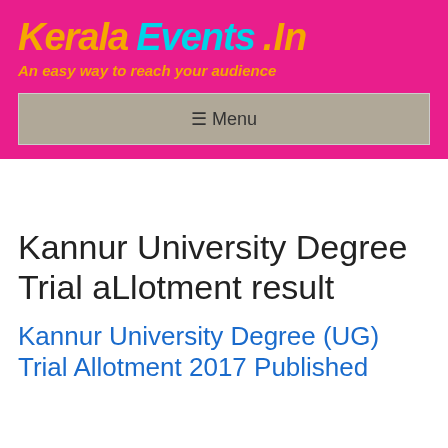Kerala Events .In — An easy way to reach your audience
☰ Menu
Kannur University Degree Trial aLlotment result
Kannur University Degree (UG) Trial Allotment 2017 Published